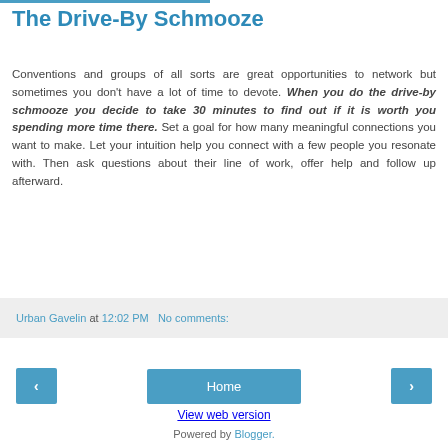The Drive-By Schmooze
Conventions and groups of all sorts are great opportunities to network but sometimes you don't have a lot of time to devote. When you do the drive-by schmooze you decide to take 30 minutes to find out if it is worth you spending more time there. Set a goal for how many meaningful connections you want to make. Let your intuition help you connect with a few people you resonate with. Then ask questions about their line of work, offer help and follow up afterward.
Urban Gavelin at 12:02 PM   No comments:
‹   Home   ›
View web version
Powered by Blogger.